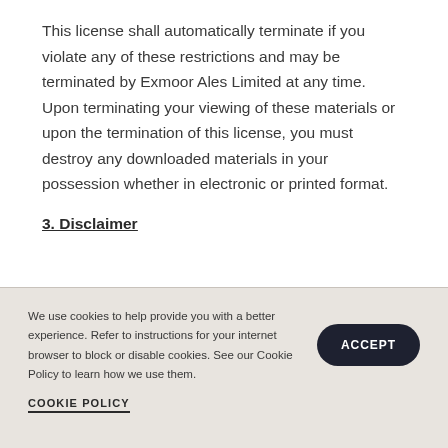This license shall automatically terminate if you violate any of these restrictions and may be terminated by Exmoor Ales Limited at any time. Upon terminating your viewing of these materials or upon the termination of this license, you must destroy any downloaded materials in your possession whether in electronic or printed format.
3. Disclaimer
We use cookies to help provide you with a better experience. Refer to instructions for your internet browser to block or disable cookies. See our Cookie Policy to learn how we use them.
COOKIE POLICY